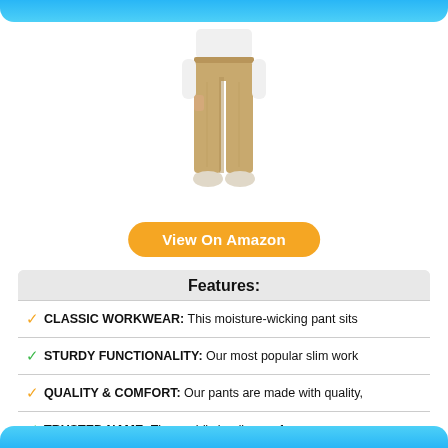[Figure (photo): Product photo of khaki/tan slim-fit work pants worn by a model (torso to feet), white background.]
View On Amazon
Features:
CLASSIC WORKWEAR: This moisture-wicking pant sits
STURDY FUNCTIONALITY: Our most popular slim work
QUALITY & COMFORT: Our pants are made with quality,
TRUSTED NAME: The world's leading performance
We make jeans, outerwear, school & work uniforms,